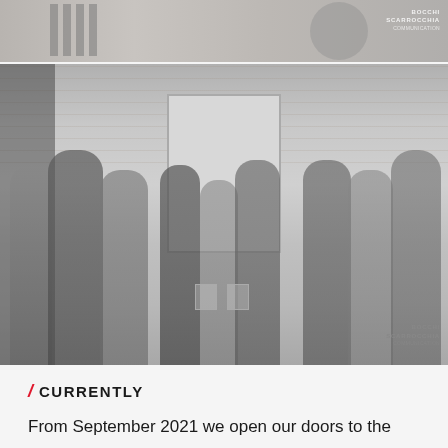[Figure (photo): Partial top image showing abstract black and white stripes/pattern with BOCCHI SCARROCCHIA logo watermark in top right corner]
[Figure (photo): Black and white photograph of groups of people gathered outside a brick building with a large white door/frame at night. People wearing heavy winter coats. White chairs visible inside. BOCCHI SCARROCCHIA logo watermark in bottom right corner.]
/ CURRENTLY
From September 2021 we open our doors to the public with the Italian...